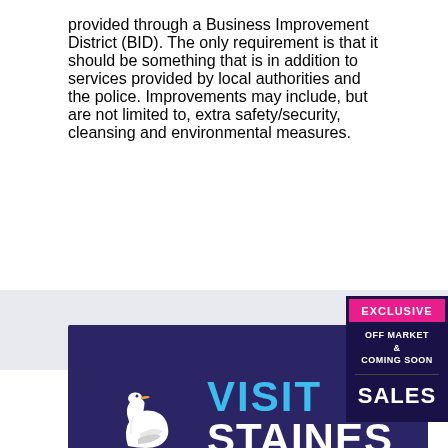provided through a Business Improvement District (BID). The only requirement is that it should be something that is in addition to services provided by local authorities and the police. Improvements may include, but are not limited to, extra safety/security, cleansing and environmental measures.
[Figure (logo): EXCLUSIVE OFF MARKET & COMING SOON SALES badge in dark purple and pink]
[Figure (logo): Visit Staines logo — white swan on dark navy/purple background with cyan VISIT text, white STAINES text, and orange STAINES-UPON-THAMES BID tagline]